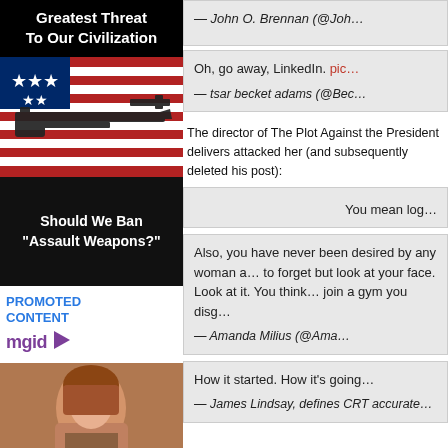Greatest Threat To Our Civilization
[Figure (photo): AR-15 style rifle on American flag background]
Should We Ban "Assault Weapons?"
PROMOTED CONTENT
[Figure (logo): mgid logo with play arrow]
[Figure (photo): Woman in outdoor setting with video play button overlay]
Before Clueless Alicia Dropped Jaws All The Way To The Floor!
— John O. Brennan (@Joh...
Oh, go away, LinkedIn. pic... — tsar becket adams (@Bec...
The director of The Plot Against the President delivers attacked her (and subsequently deleted his post):
You mean log...
Also, you have never been desired by any woman a... to forget but look at your face. Look at it. You think... join a gym you disg... — Amanda Milius (@Ama...
How it's going. — James Lindsay, defines CRT accurate...